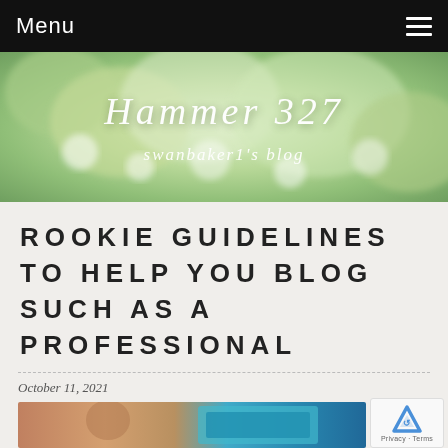Menu
[Figure (illustration): Blog banner with blurred green foliage background showing blog title 'Hammer 327' in italic script and subtitle 'swanbaker1's blog']
ROOKIE GUIDELINES TO HELP YOU BLOG SUCH AS A PROFESSIONAL
October 11, 2021
[Figure (photo): Photo of a person working on a laptop with a teal/blue screen and desk items in the background]